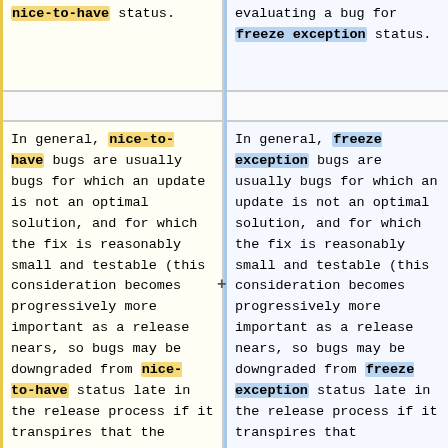nice-to-have status.
evaluating a bug for freeze exception status.
In general, nice-to-have bugs are usually bugs for which an update is not an optimal solution, and for which the fix is reasonably small and testable (this consideration becomes progressively more important as a release nears, so bugs may be downgraded from nice-to-have status late in the release process if it transpires that the
In general, freeze exception bugs are usually bugs for which an update is not an optimal solution, and for which the fix is reasonably small and testable (this consideration becomes progressively more important as a release nears, so bugs may be downgraded from freeze exception status late in the release process if it transpires that